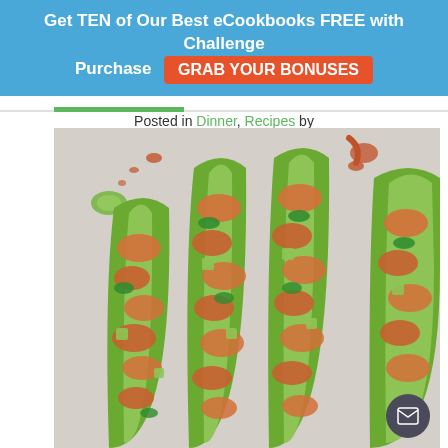Get TEN of Our Best eCookbooks FREE with Challenge Purchase  GRAB YOUR BONUSES
Posted in Dinner, Recipes by Rachel
[Figure (photo): Overhead photo of four zucchini halves stuffed with seasoned shrimp, diced avocado, and fresh cilantro, arranged on a light surface with orange-red sauce drizzled around.]